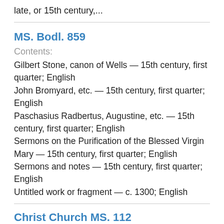late, or 15th century,...
MS. Bodl. 859
Contents:
Gilbert Stone, canon of Wells — 15th century, first quarter; English
John Bromyard, etc. — 15th century, first quarter; English
Paschasius Radbertus, Augustine, etc. — 15th century, first quarter; English
Sermons on the Purification of the Blessed Virgin Mary — 15th century, first quarter; English
Sermons and notes — 15th century, first quarter; English
Untitled work or fragment — c. 1300; English
Christ Church MS. 112